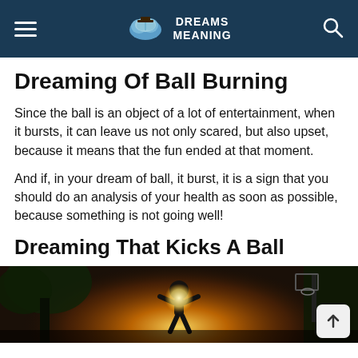DREAMS MEANING
Dreaming Of Ball Burning
Since the ball is an object of a lot of entertainment, when it bursts, it can leave us not only scared, but also upset, because it means that the fun ended at that moment.
And if, in your dream of ball, it burst, it is a sign that you should do an analysis of your health as soon as possible, because something is not going well!
Dreaming That Kicks A Ball
[Figure (photo): A person playing basketball outdoors with a basketball hoop visible, shot with warm backlight/sunlight creating a glowing silhouette effect.]